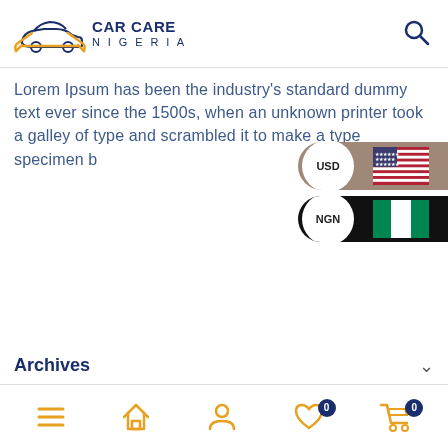CAR CARE NIGERIA
Lorem Ipsum has been the industry's standard dummy text ever since the 1500s, when an unknown printer took a galley of type and scrambled it to make a type specimen b
[Figure (infographic): USD currency toggle button with US flag and NGN currency toggle with Nigerian flag]
Archives
Categories
Meta
Categori...
Bottom navigation bar with menu, home, profile, wishlist (0), cart (0) icons